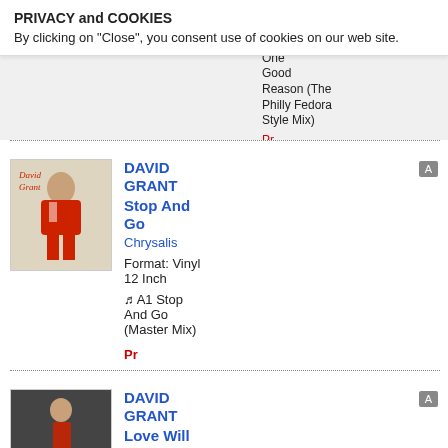PRIVACY and COOKIES
By clicking on "Close", you consent use of cookies on our web site.
Chiudi X
Reason (The Hard Mix)
B2 Give One Good Reason (The Philly Fedora Style Mix)
[Figure (photo): Album cover for David Grant - Stop And Go, showing David Grant in a red outfit running]
DAVID GRANT
Stop And Go
Chrysalis
Format: Vinyl 12 Inch
A1 Stop And Go (Master Mix)
[Figure (photo): Album cover for David Grant - Love Will Find A Way, showing David Grant in red pants and white boots]
DAVID GRANT
Love Will Find A Way
Chrysalis
Format: Vinyl 12 Inch
A Love Will Find A